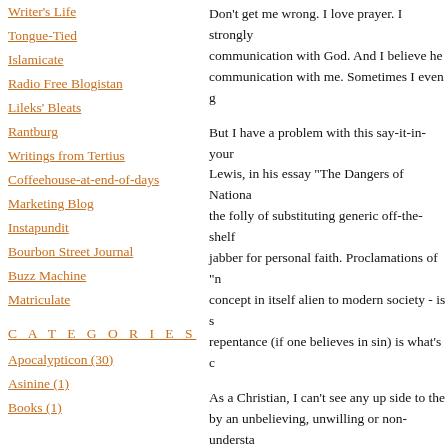Writer's Life
Tongue-Tied
Islamicate
Radio Free Blogistan
Lileks' Bleats
Rantburg
Writings from Tertius
Coffeehouse-at-end-of-days
Marketing Blog
Instapundit
Bourbon Street Journal
Buzz Machine
Matriculate
C A T E G O R I E S
Apocalypticon (30)
Asinine (1)
Books (1)
Don't get me wrong. I love prayer. I strongly communication with God. And I believe he communication with me. Sometimes I even g
But I have a problem with this say-it-in-your Lewis, in his essay "The Dangers of Nationa the folly of substituting generic off-the-shelf jabber for personal faith. Proclamations of "n concept in itself alien to modern society - is s repentance (if one believes in sin) is what's c
As a Christian, I can't see any up side to the by an unbelieving, unwilling or non-understa that we are "One nation under God" doesn't m we are even one nation is quite open to deba not a nation "under God," except in the cosm sense of the pledge - and this was openly tau prehistoric days of my youth - the clear claim States is somehow operating under godly pri